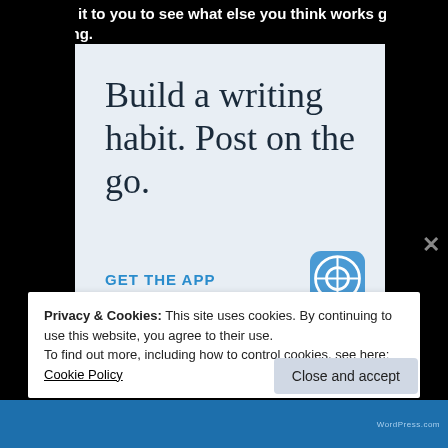will leave it to you to see what else you think works great in this pairing.
Advertisements
[Figure (screenshot): WordPress advertisement showing text 'Build a writing habit. Post on the go.' with 'GET THE APP' call to action and WordPress logo]
Privacy & Cookies: This site uses cookies. By continuing to use this website, you agree to their use.
To find out more, including how to control cookies, see here: Cookie Policy
Close and accept